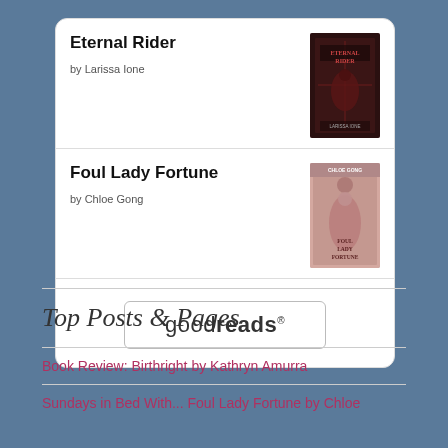Eternal Rider
by Larissa Ione
[Figure (illustration): Book cover for Eternal Rider by Larissa Ione — dark red/black cover with decorative text]
Foul Lady Fortune
by Chloe Gong
[Figure (illustration): Book cover for Foul Lady Fortune by Chloe Gong — pink/rose toned cover with figure]
[Figure (logo): goodreads button/logo]
Top Posts & Pages
Book Review: Birthright by Kathryn Amurra
Sundays in Bed With... Foul Lady Fortune by Chloe